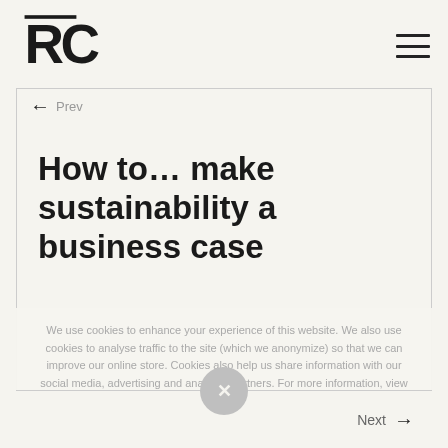RC logo and navigation
← Prev
How to… make sustainability a business case
We use cookies to enhance your experience of this website. We also use cookies to analyse traffic to the site (which we anonymize) so that we can improve our online store. Cookies also help us share information with our social media, advertising and analytics partners. For more information, view our Privacy.
Next →